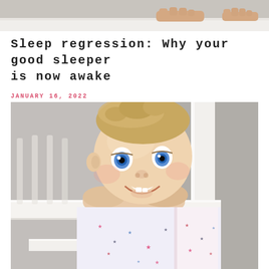[Figure (photo): Top portion of a photo showing hands on a white crib rail, cropped at top of page]
Sleep regression: Why your good sleeper is now awake
JANUARY 16, 2022
[Figure (photo): Smiling baby with blue eyes leaning on white crib rail, wearing star-print pajamas]